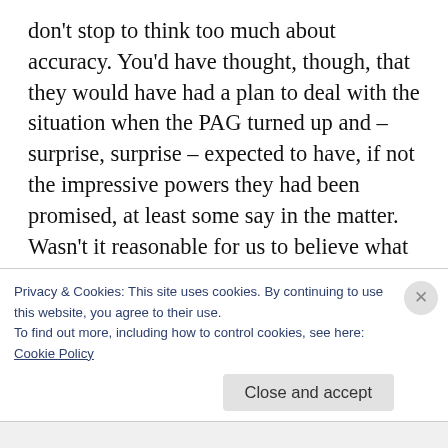don't stop to think too much about accuracy. You'd have thought, though, that they would have had a plan to deal with the situation when the PAG turned up and – surprise, surprise – expected to have, if not the impressive powers they had been promised, at least some say in the matter. Wasn't it reasonable for us to believe what we (and Forward ME) had been told?
Except perhaps, now I think about it, there was a plan to deal with the situation: to ignore the
Privacy & Cookies: This site uses cookies. By continuing to use this website, you agree to their use.
To find out more, including how to control cookies, see here:
Cookie Policy
Close and accept